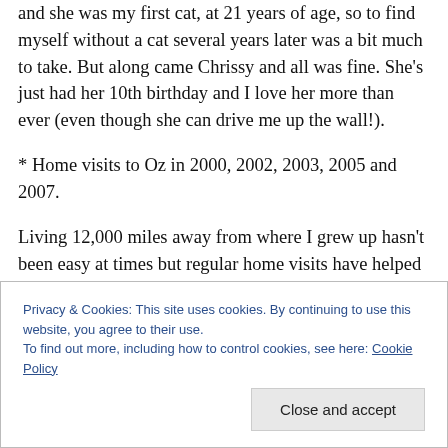and she was my first cat, at 21 years of age, so to find myself without a cat several years later was a bit much to take. But along came Chrissy and all was fine. She's just had her 10th birthday and I love her more than ever (even though she can drive me up the wall!).
* Home visits to Oz in 2000, 2002, 2003, 2005 and 2007.
Living 12,000 miles away from where I grew up hasn't been easy at times but regular home visits have helped greatly over the years. I know I've been lucky. I've had the opportunity to go home five times in the last 10 years and
Privacy & Cookies: This site uses cookies. By continuing to use this website, you agree to their use.
To find out more, including how to control cookies, see here: Cookie Policy
Close and accept